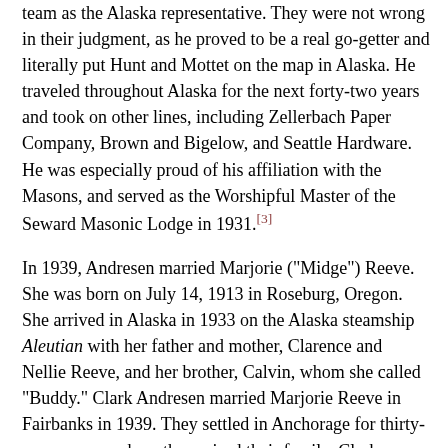team as the Alaska representative. They were not wrong in their judgment, as he proved to be a real go-getter and literally put Hunt and Mottet on the map in Alaska. He traveled throughout Alaska for the next forty-two years and took on other lines, including Zellerbach Paper Company, Brown and Bigelow, and Seattle Hardware. He was especially proud of his affiliation with the Masons, and served as the Worshipful Master of the Seward Masonic Lodge in 1931.[3]
In 1939, Andresen married Marjorie ("Midge") Reeve. She was born on July 14, 1913 in Roseburg, Oregon. She arrived in Alaska in 1933 on the Alaska steamship Aleutian with her father and mother, Clarence and Nellie Reeve, and her brother, Calvin, whom she called "Buddy." Clark Andresen married Marjorie Reeve in Fairbanks in 1939. They settled in Anchorage for thirty-seven years, where they raised their family. Clark was an avid baseball fan and was known throughout Alaska as "Mr. Baseball" due to his prowess as a player in his younger days.[4]
The union of Clark and Midge Andresen produced three daughters: Scarlett Kay DuBois (born in 1942); Judy LaVerne Rosenberg (born